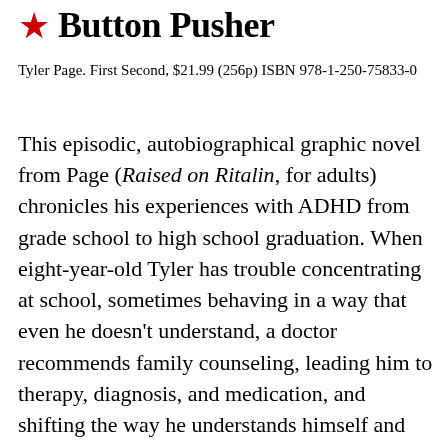★ Button Pusher
Tyler Page. First Second, $21.99 (256p) ISBN 978-1-250-75833-0
This episodic, autobiographical graphic novel from Page (Raised on Ritalin, for adults) chronicles his experiences with ADHD from grade school to high school graduation. When eight-year-old Tyler has trouble concentrating at school, sometimes behaving in a way that even he doesn't understand, a doctor recommends family counseling, leading him to therapy, diagnosis, and medication, and shifting the way he understands himself and his loved ones. Alternating with a story arc that revolves around a circle of friendships and family conflicts...